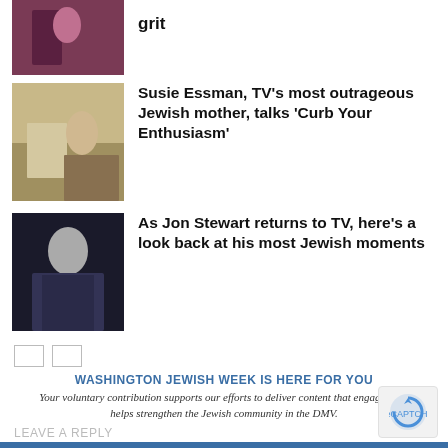[Figure (photo): Partially visible image from previous article, pink/dark toned]
grit
[Figure (photo): Two people in a room, one appears to be at a desk]
Susie Essman, TV’s most outrageous Jewish mother, talks ‘Curb Your Enthusiasm’
[Figure (photo): Man in dark suit, appears to be Jon Stewart]
As Jon Stewart returns to TV, here’s a look back at his most Jewish moments
WASHINGTON JEWISH WEEK IS HERE FOR YOU
Your voluntary contribution supports our efforts to deliver content that engages and helps strengthen the Jewish community in the DMV.
LEAVE A REPLY
CONTRIBUTE
Comment...